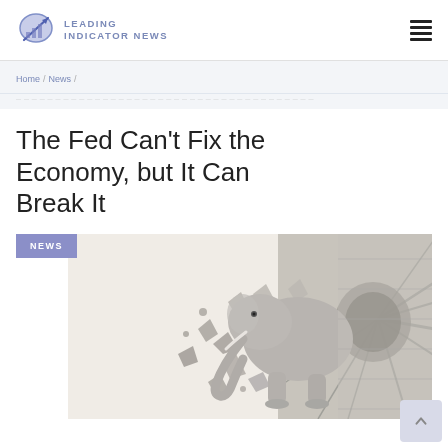LEADING INDICATOR NEWS
Home / News /
The Fed Can't Fix the Economy, but It Can Break It
NEWS
[Figure (photo): Sculpture or 3D render of an elephant crashing through a concrete wall, disintegrating into fragments, on a light beige background — black and white / grayscale tones.]